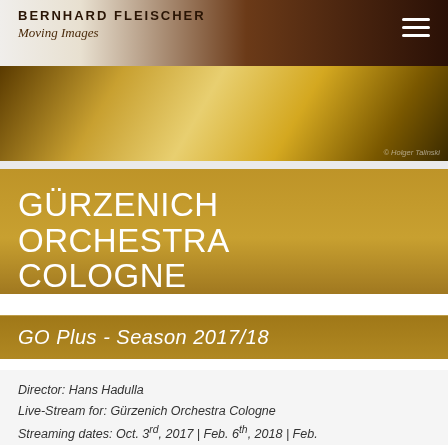Bernhard Fleischer Moving Images
[Figure (photo): Sepia/gold toned promotional photo strip, likely an orchestra or performance image]
GÜRZENICH ORCHESTRA COLOGNE
GO Plus - Season 2017/18
Director: Hans Hadulla
Live-Stream for: Gürzenich Orchestra Cologne
Streaming dates: Oct. 3rd, 2017 | Feb. 6th, 2018 | Feb.